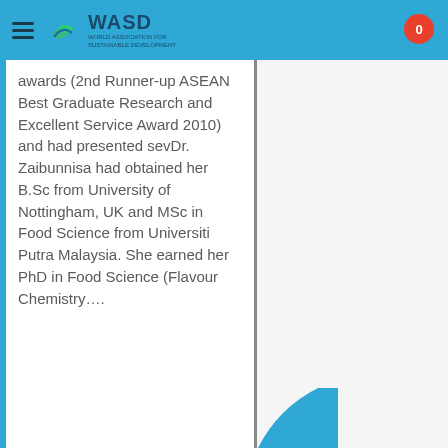WASD
awards (2nd Runner-up ASEAN Best Graduate Research and Excellent Service Award 2010) and had presented sevDr. Zaibunnisa had obtained her B.Sc from University of Nottingham, UK and MSc in Food Science from Universiti Putra Malaysia. She earned her PhD in Food Science (Flavour Chemistry….